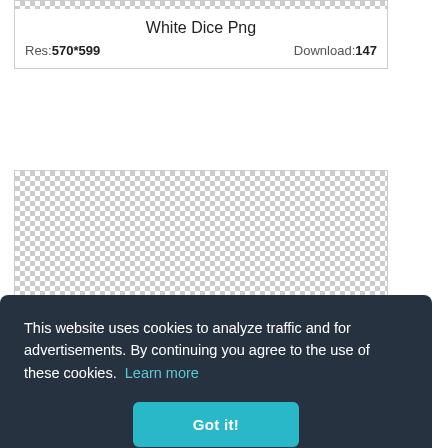White Dice Png
Res: 570*599   Download: 147
[Figure (photo): Transparent/checkered background area showing a PNG image placeholder with checkerboard pattern]
This website uses cookies to analyze traffic and for advertisements. By continuing you agree to the use of these cookies. Learn more
Got it!